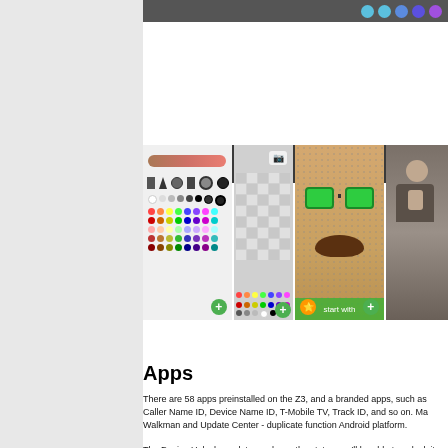[Figure (screenshot): Screenshots of apps on Sony Xperia Z3: color palette drawing app, checkered grid pattern editor, face filter app with sunglasses and mustache, portrait photo of man]
Apps
There are 58 apps preinstalled on the Z3, and a branded apps, such as Caller Name ID, Device Name ID, T-Mobile TV, Track ID, and so on. Walkman and Update Center - duplicate function Android platform.
The Device Unlock app lets you know the status you'll be able to unlock it from T-Mobile's netwo that app; it's neat.
Other Sony apps worth calling out include Sony Select is an app recommendation tool that works Galaxy devices. It offers a selection of apps and enjoy. The Xperia Lounge is sort of "Hey, check news app. It is organized like a magazine and o things Sony.